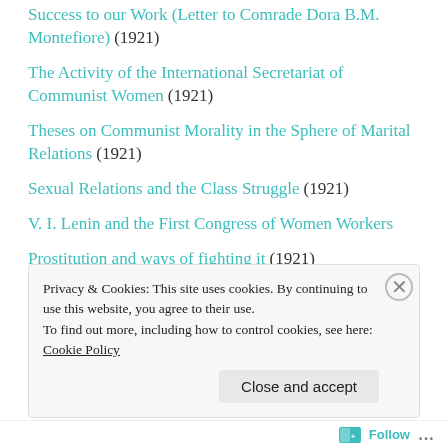Success to our Work (Letter to Comrade Dora B.M. Montefiore) (1921)
The Activity of the International Secretariat of Communist Women (1921)
Theses on Communist Morality in the Sphere of Marital Relations (1921)
Sexual Relations and the Class Struggle (1921)
V. I. Lenin and the First Congress of Women Workers
Prostitution and ways of fighting it (1921)
The Labour of Women in the Evolution of the Economy (1921)
Soon (In 48 Years’ Time) (1922)
Privacy & Cookies: This site uses cookies. By continuing to use this website, you agree to their use.
To find out more, including how to control cookies, see here: Cookie Policy
Follow